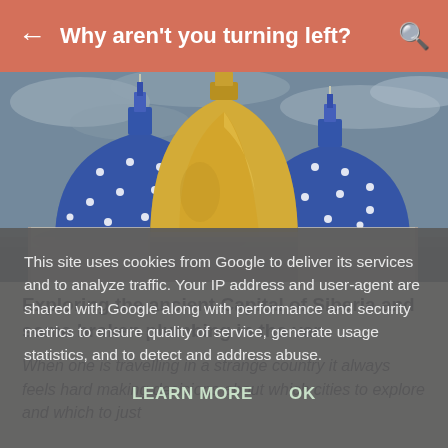Why aren't you turning left?
[Figure (photo): Three ornate church domes against a grey sky — a large golden dome in the centre flanked by two blue star-studded domes, typical of Russian Orthodox architecture.]
Exploring the ancient Capital of Siberia and some broken plumbing in the van
When one is travelling in a strange country it always feels hard making decisions about which cities to explore and which to just
This site uses cookies from Google to deliver its services and to analyze traffic. Your IP address and user-agent are shared with Google along with performance and security metrics to ensure quality of service, generate usage statistics, and to detect and address abuse.
LEARN MORE   OK